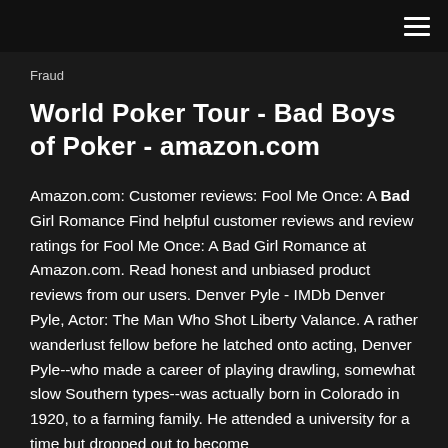☰
Fraud
World Poker Tour - Bad Boys of Poker - amazon.com
Amazon.com: Customer reviews: Fool Me Once: A Bad Girl Romance Find helpful customer reviews and review ratings for Fool Me Once: A Bad Girl Romance at Amazon.com. Read honest and unbiased product reviews from our users. Denver Pyle - IMDb Denver Pyle, Actor: The Man Who Shot Liberty Valance. A rather wanderlust fellow before he latched onto acting, Denver Pyle--who made a career of playing drawling, somewhat slow Southern types--was actually born in Colorado in 1920, to a farming family. He attended a university for a time but dropped out to become